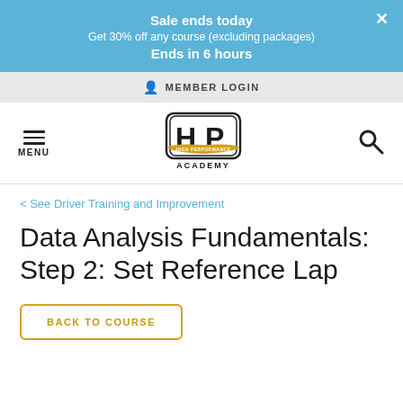Sale ends today
Get 30% off any course (excluding packages)
Ends in 6 hours
MEMBER LOGIN
[Figure (logo): High Performance Academy logo with HP letters and banner]
< See Driver Training and Improvement
Data Analysis Fundamentals: Step 2: Set Reference Lap
BACK TO COURSE